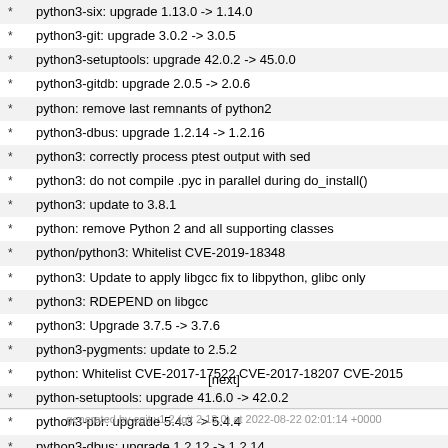python3-six: upgrade 1.13.0 -> 1.14.0
python3-git: upgrade 3.0.2 -> 3.0.5
python3-setuptools: upgrade 42.0.2 -> 45.0.0
python3-gitdb: upgrade 2.0.5 -> 2.0.6
python: remove last remnants of python2
python3-dbus: upgrade 1.2.14 -> 1.2.16
python3: correctly process ptest output with sed
python3: do not compile .pyc in parallel during do_install()
python3: update to 3.8.1
python: remove Python 2 and all supporting classes
python/python3: Whitelist CVE-2019-18348
python3: Update to apply libgcc fix to libpython, glibc only
python3: RDEPEND on libgcc
python3: Upgrade 3.7.5 -> 3.7.6
python3-pygments: update to 2.5.2
python: Whitelist CVE-2017-17522 CVE-2017-18207 CVE-2015...
python-setuptools: upgrade 41.6.0 -> 42.0.2
python3-pbr: upgrade 5.4.3 -> 5.4.4
python3-dbus: upgrade 1.2.12 -> 1.2.14
python: use PYTHON_FOR_BUILD, don't add HOSTPYTHON...
[next]
generated by cgit v1.2 (git 2.18.0) at 2022-08-22 02:01:14 +0000